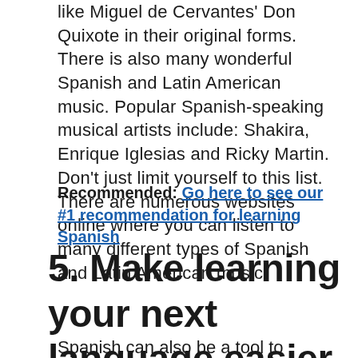like Miguel de Cervantes' Don Quixote in their original forms. There is also many wonderful Spanish and Latin American music. Popular Spanish-speaking musical artists include: Shakira, Enrique Iglesias and Ricky Martin. Don't just limit yourself to this list. There are numerous websites online where you can listen to many different types of Spanish and Latin American music.
Recommended: Go here to see our #1 recommendation for learning Spanish
5. Make learning your next language easier
Spanish can also be a tool to learning other